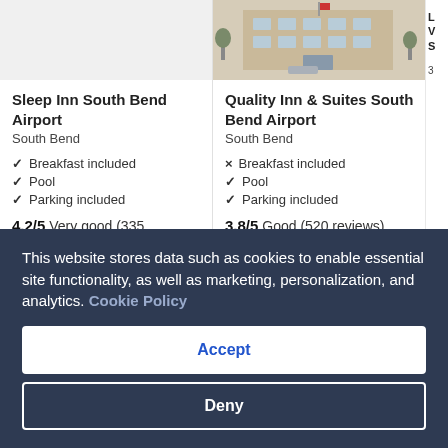[Figure (photo): Exterior photo of Quality Inn & Suites South Bend Airport — a multi-story beige building with parking lot and bare trees]
Sleep Inn South Bend Airport
South Bend
✓ Breakfast included
✓ Pool
✓ Parking included
4.2/5 Very good (335 reviews)
Quality Inn & Suites South Bend Airport
South Bend
✗ Breakfast included
✓ Pool
✓ Parking included
3.8/5 Good (520 reviews)
This website stores data such as cookies to enable essential site functionality, as well as marketing, personalization, and analytics. Cookie Policy
Accept
Deny